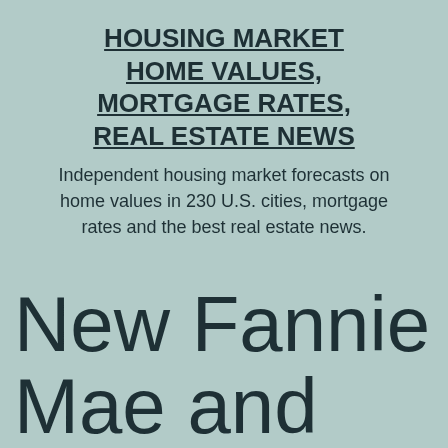HOUSING MARKET HOME VALUES, MORTGAGE RATES, REAL ESTATE NEWS
Independent housing market forecasts on home values in 230 U.S. cities, mortgage rates and the best real estate news.
New Fannie Mae and